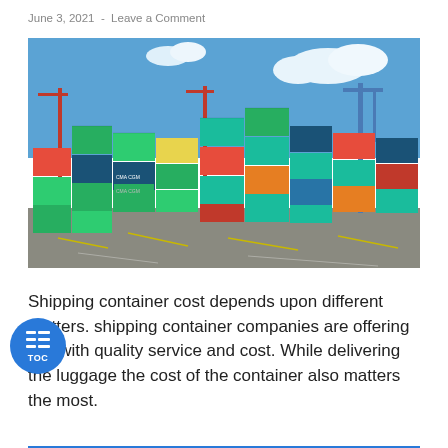June 3, 2021  -  Leave a Comment
[Figure (photo): Shipping containers stacked at a port terminal with cranes visible in the background and blue sky with clouds above. CMA CGM branded containers visible among green, blue, teal, red, and orange containers.]
Shipping container cost depends upon different matters. shipping container companies are offering this with quality service and cost. While delivering the luggage the cost of the container also matters the most.